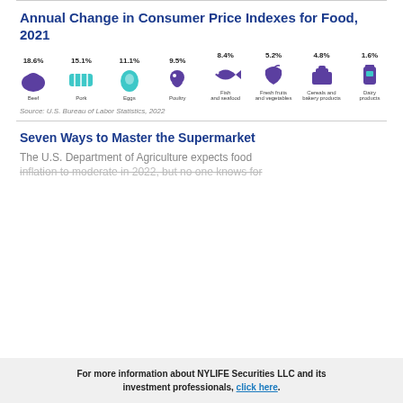Annual Change in Consumer Price Indexes for Food, 2021
[Figure (infographic): Icons of 8 food categories with percentage labels: Beef 18.6%, Pork 15.1%, Eggs 11.1%, Poultry 9.5%, Fish and seafood 8.4%, Fresh fruits and vegetables 5.2%, Cereals and bakery products 4.8%, Dairy products 1.6%]
Source: U.S. Bureau of Labor Statistics, 2022
Seven Ways to Master the Supermarket
The U.S. Department of Agriculture expects food inflation to moderate in 2022, but no one knows for
For more information about NYLIFE Securities LLC and its investment professionals, click here.